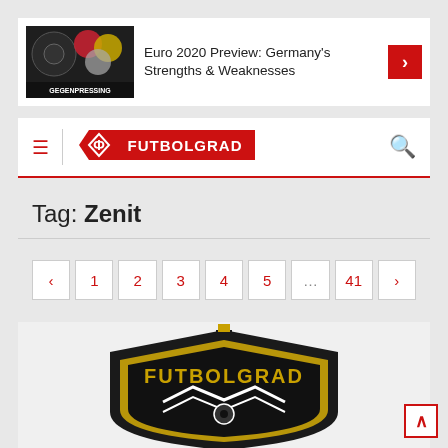[Figure (screenshot): Website screenshot showing Gegenpressing logo thumbnail with article title 'Euro 2020 Preview: Germany's Strengths & Weaknesses' and red arrow button]
[Figure (logo): Futbolgrad website navigation bar with hamburger menu, Futbolgrad diamond logo in red banner, and search icon]
Tag: Zenit
[Figure (other): Pagination control showing buttons: < 1 2 3 4 5 ... 41 >]
[Figure (logo): Futbolgrad logo shield design in black and gold with text FUTBOLGRAD]